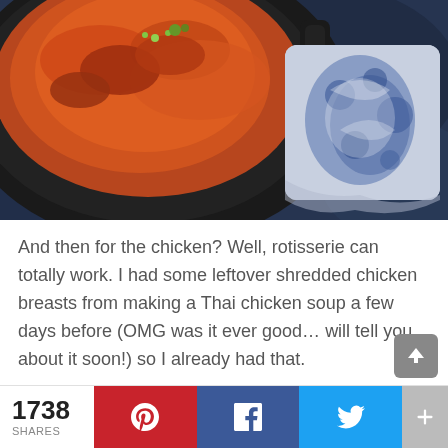[Figure (photo): Overhead view of a cast iron skillet with orange-glazed chicken garnished with green onions and cilantro, on a dark blue surface. A blue and white patterned cloth wraps the skillet handle.]
And then for the chicken? Well, rotisserie can totally work. I had some leftover shredded chicken breasts from making a Thai chicken soup a few days before (OMG was it ever good… will tell you about it soon!) so I already had that.
1738 SHARES | Pinterest | Facebook | Twitter | +